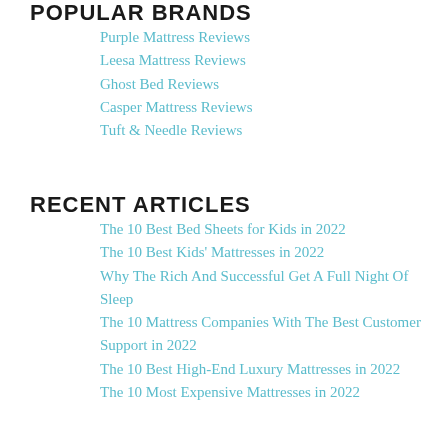POPULAR BRANDS
Purple Mattress Reviews
Leesa Mattress Reviews
Ghost Bed Reviews
Casper Mattress Reviews
Tuft & Needle Reviews
RECENT ARTICLES
The 10 Best Bed Sheets for Kids in 2022
The 10 Best Kids' Mattresses in 2022
Why The Rich And Successful Get A Full Night Of Sleep
The 10 Mattress Companies With The Best Customer Support in 2022
The 10 Best High-End Luxury Mattresses in 2022
The 10 Most Expensive Mattresses in 2022